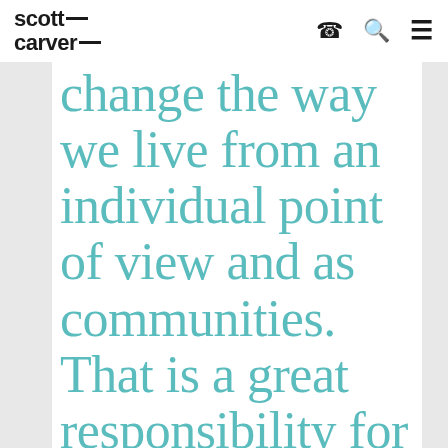scott carver
change the way we live from an individual point of view and as communities. That is a great responsibility for us to take on but very fulfilling when successful.